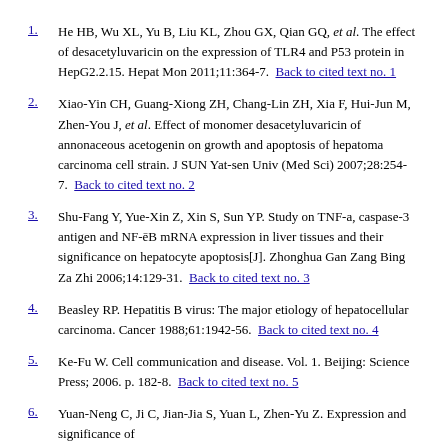1. He HB, Wu XL, Yu B, Liu KL, Zhou GX, Qian GQ, et al. The effect of desacetyluvaricin on the expression of TLR4 and P53 protein in HepG2.2.15. Hepat Mon 2011;11:364-7. Back to cited text no. 1
2. Xiao-Yin CH, Guang-Xiong ZH, Chang-Lin ZH, Xia F, Hui-Jun M, Zhen-You J, et al. Effect of monomer desacetyluvaricin of annonaceous acetogenin on growth and apoptosis of hepatoma carcinoma cell strain. J SUN Yat-sen Univ (Med Sci) 2007;28:254-7. Back to cited text no. 2
3. Shu-Fang Y, Yue-Xin Z, Xin S, Sun YP. Study on TNF-a, caspase-3 antigen and NF-eB mRNA expression in liver tissues and their significance on hepatocyte apoptosis[J]. Zhonghua Gan Zang Bing Za Zhi 2006;14:129-31. Back to cited text no. 3
4. Beasley RP. Hepatitis B virus: The major etiology of hepatocellular carcinoma. Cancer 1988;61:1942-56. Back to cited text no. 4
5. Ke-Fu W. Cell communication and disease. Vol. 1. Beijing: Science Press; 2006. p. 182-8. Back to cited text no. 5
6. Yuan-Neng C, Ji C, Jian-Jia S, Yuan L, Zhen-Yu Z. Expression and significance of